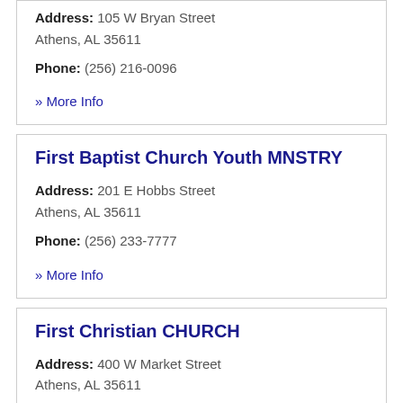Address: 105 W Bryan Street Athens, AL 35611
Phone: (256) 216-0096
» More Info
First Baptist Church Youth MNSTRY
Address: 201 E Hobbs Street Athens, AL 35611
Phone: (256) 233-7777
» More Info
First Christian CHURCH
Address: 400 W Market Street Athens, AL 35611